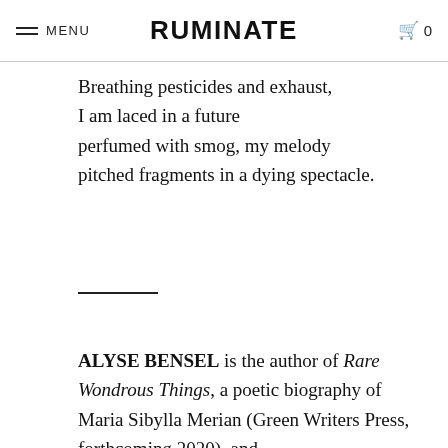MENU | RUMINATE | 0
Breathing pesticides and exhaust,
I am laced in a future
perfumed with smog, my melody
pitched fragments in a dying spectacle.
ALYSE BENSEL is the author of Rare Wondrous Things, a poetic biography of Maria Sibylla Merian (Green Writers Press, forthcoming 2020), and